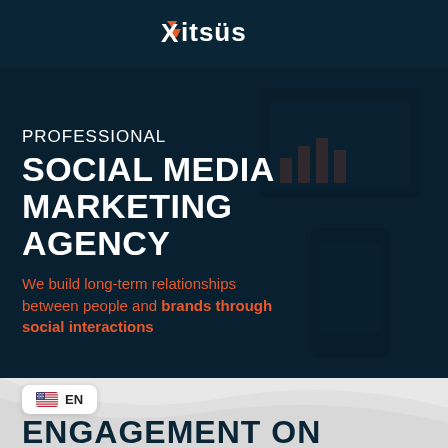[Figure (logo): Xitsus logo in white on dark background header bar]
[Figure (photo): Dark overlay hero section showing hands using devices, with marketing agency text overlay]
PROFESSIONAL
SOCIAL MEDIA MARKETING AGENCY
We build long-term relationships between people and brands through social interactions
[Figure (infographic): Bottom section with wave graphic, EN language selector pill, and partially visible ENGAGEMENT text]